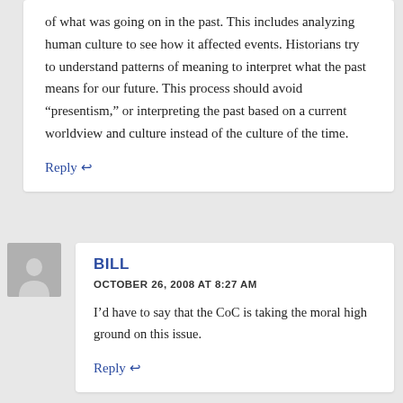of what was going on in the past. This includes analyzing human culture to see how it affected events. Historians try to understand patterns of meaning to interpret what the past means for our future. This process should avoid "presentism," or interpreting the past based on a current worldview and culture instead of the culture of the time.
Reply ↩
[Figure (photo): Gray placeholder avatar silhouette of a person]
BILL
OCTOBER 26, 2008 AT 8:27 AM
I'd have to say that the CoC is taking the moral high ground on this issue.
Reply ↩